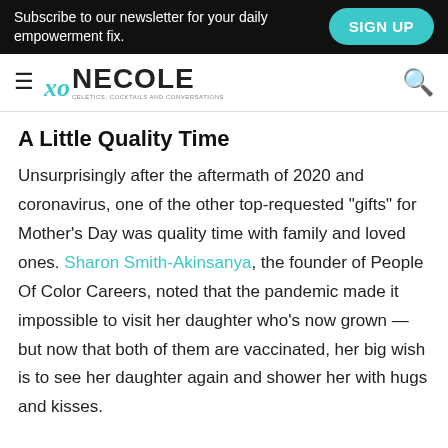Subscribe to our newsletter for your daily empowerment fix.   SIGN UP
xo NECOLE
A Little Quality Time
Unsurprisingly after the aftermath of 2020 and coronavirus, one of the other top-requested "gifts" for Mother's Day was quality time with family and loved ones. Sharon Smith-Akinsanya, the founder of People Of Color Careers, noted that the pandemic made it impossible to visit her daughter who's now grown — but now that both of them are vaccinated, her big wish is to see her daughter again and shower her with hugs and kisses.